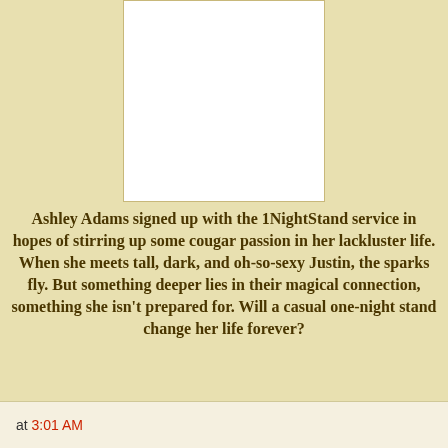[Figure (illustration): White rectangle representing a book cover on a tan/cream background]
Ashley Adams signed up with the 1NightStand service in hopes of stirring up some cougar passion in her lackluster life. When she meets tall, dark, and oh-so-sexy Justin, the sparks fly. But something deeper lies in their magical connection, something she isn't prepared for. Will a casual one-night stand change her life forever?
at 3:01 AM